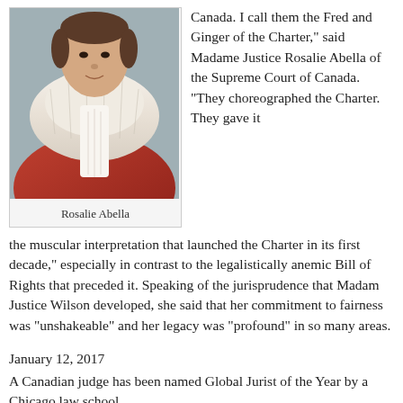[Figure (photo): Portrait photo of Rosalie Abella in judicial robes with fur collar and white jabot]
Rosalie Abella
Canada. I call them the Fred and Ginger of the Charter," said Madame Justice Rosalie Abella of the Supreme Court of Canada. "They choreographed the Charter. They gave it the muscular interpretation that launched the Charter in its first decade," especially in contrast to the legalistically anemic Bill of Rights that preceded it. Speaking of the jurisprudence that Madam Justice Wilson developed, she said that her commitment to fairness was "unshakeable" and her legacy was "profound" in so many areas.
January 12, 2017
A Canadian judge has been named Global Jurist of the Year by a Chicago law school.
Justice Rosalie Abella, 70, who has been a member of the